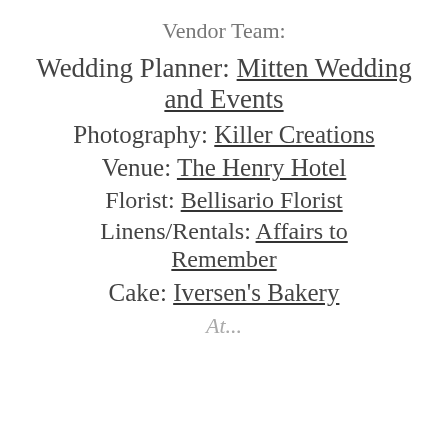Vendor Team:
Wedding Planner: Mitten Wedding and Events
Photography: Killer Creations
Venue: The Henry Hotel
Florist: Bellisario Florist
Linens/Rentals: Affairs to Remember
Cake: Iversen's Bakery